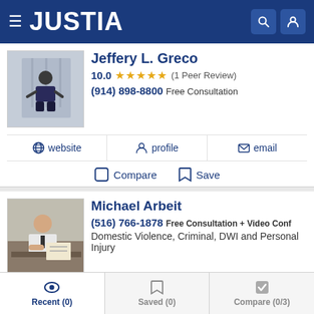JUSTIA
Jeffery L. Greco
10.0 ★★★★★ (1 Peer Review)
(914) 898-8800 Free Consultation
website
profile
email
Compare
Save
Michael Arbeit
(516) 766-1878 Free Consultation + Video Conf
Domestic Violence, Criminal, DWI and Personal Injury
website
profile
email
Compare
Save
Recent (0)  Saved (0)  Compare (0/3)